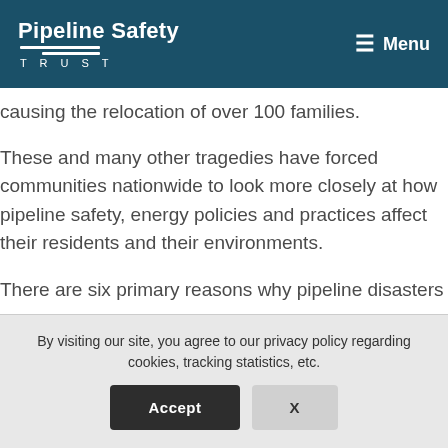Pipeline Safety Trust | Menu
causing the relocation of over 100 families.
These and many other tragedies have forced communities nationwide to look more closely at how pipeline safety, energy policies and practices affect their residents and their environments.
There are six primary reasons why pipeline disasters occur:
By visiting our site, you agree to our privacy policy regarding cookies, tracking statistics, etc.